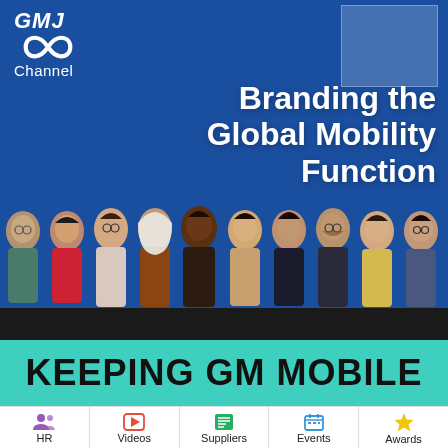[Figure (logo): GMJ Channel logo with infinity symbol in white on blue background]
Branding the Global Mobility Function
[Figure (photo): Group of 10 diverse professionals posed in a row against blue background]
KEEPING GM MOBILE
[Figure (infographic): Navigation bar with 5 icons: HR (people icon, purple), Videos (play button, red), Suppliers (document, green), Events (calendar, blue), Awards (star, gold)]